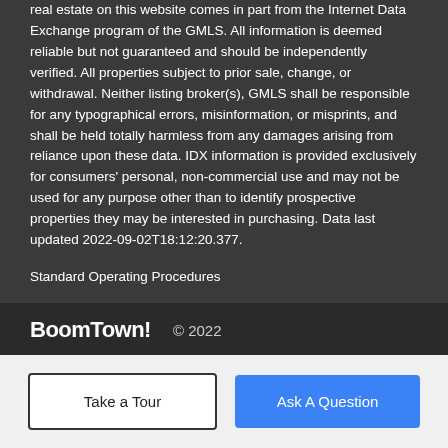real estate on this website comes in part from the Internet Data Exchange program of the GMLS. All information is deemed reliable but not guaranteed and should be independently verified. All properties subject to prior sale, change, or withdrawal. Neither listing broker(s), GMLS shall be responsible for any typographical errors, misinformation, or misprints, and shall be held totally harmless from any damages arising from reliance upon these data. IDX information is provided exclusively for consumers' personal, non-commercial use and may not be used for any purpose other than to identify prospective properties they may be interested in purchasing. Data last updated 2022-09-02T18:12:20.377.
Standard Operating Procedures
BoomTown! © 2022
Terms of Use | Privacy Policy | Accessibility | DMCA | Listings Sitemap
Take a Tour
Ask A Question